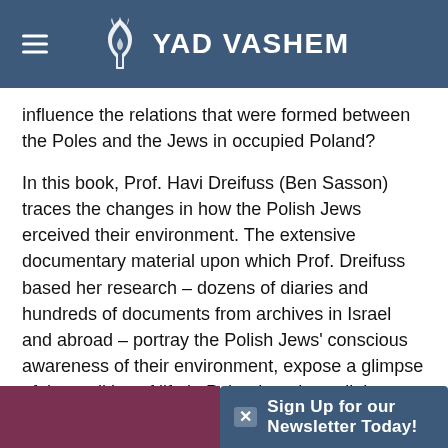YAD VASHEM
influence the relations that were formed between the Poles and the Jews in occupied Poland?
In this book, Prof. Havi Dreifuss (Ben Sasson) traces the changes in how the Polish Jews erceived their environment. The extensive documentary material upon which Prof. Dreifuss based her research – dozens of diaries and hundreds of documents from archives in Israel and abroad – portray the Polish Jews' conscious awareness of their environment, expose a glimpse of the realities of life in Poland, and cast light on several of the factors that directly and indirectly influenced their lives – and ultimately their deaths.
Sign Up for our Newsletter Today!